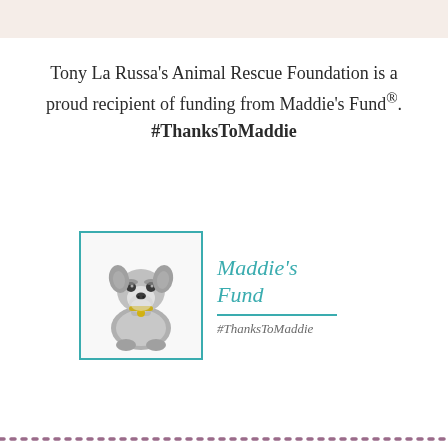Tony La Russa's Animal Rescue Foundation is a proud recipient of funding from Maddie's Fund®. #ThanksToMaddie
[Figure (logo): Maddie's Fund logo: teal-bordered box with a schnauzer dog illustration on the left, and teal italic text 'Maddie's Fund' with a teal horizontal rule and '#ThanksToMaddie' in gray italic on the right.]